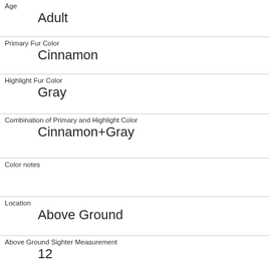| Age | Adult |
| Primary Fur Color | Cinnamon |
| Highlight Fur Color | Gray |
| Combination of Primary and Highlight Color | Cinnamon+Gray |
| Color notes |  |
| Location | Above Ground |
| Above Ground Sighter Measurement | 12 |
| Specific Location | thin branch of tree |
| Running | 0 |
| Chasing | 0 |